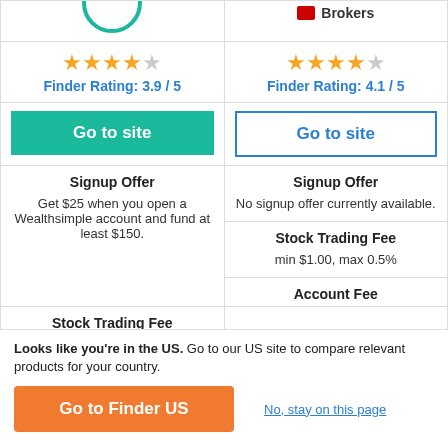| Wealthsimple | Questrade / TD / Another Broker |
| --- | --- |
| ★★★★☆ Finder Rating: 3.9 / 5 | ★★★★☆ Finder Rating: 4.1 / 5 |
| Go to site | Go to site |
| Signup Offer
Get $25 when you open a Wealthsimple account and fund at least $150. | Signup Offer
No signup offer currently available. |
| Stock Trading Fee
$0 | Stock Trading Fee
min $1.00, max 0.5%
Account Fee |
Looks like you're in the US. Go to our US site to compare relevant products for your country.
Go to Finder US
No, stay on this page